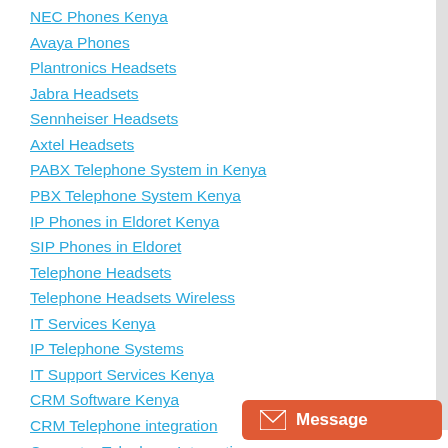NEC Phones Kenya
Avaya Phones
Plantronics Headsets
Jabra Headsets
Sennheiser Headsets
Axtel Headsets
PABX Telephone System in Kenya
PBX Telephone System Kenya
IP Phones in Eldoret Kenya
SIP Phones in Eldoret
Telephone Headsets
Telephone Headsets Wireless
IT Services Kenya
IP Telephone Systems
IT Support Services Kenya
CRM Software Kenya
CRM Telephone integration
Computer Telephony Integration
Telephone Systems Kenya
IP Telephone System Kenya